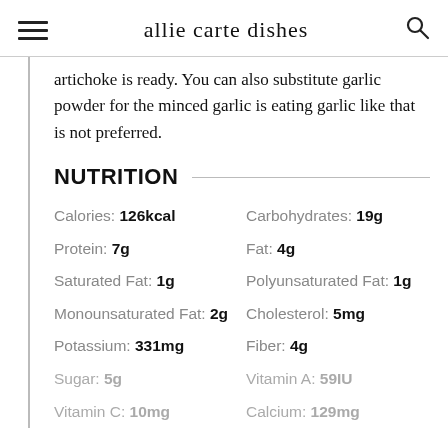allie carte dishes
artichoke is ready. You can also substitute garlic powder for the minced garlic is eating garlic like that is not preferred.
NUTRITION
| Calories: 126kcal | Carbohydrates: 19g |
| Protein: 7g | Fat: 4g |
| Saturated Fat: 1g | Polyunsaturated Fat: 1g |
| Monounsaturated Fat: 2g | Cholesterol: 5mg |
| Potassium: 331mg | Fiber: 4g |
| Sugar: 5g | Vitamin A: 59IU |
| Vitamin C: 10mg | Calcium: 129mg |